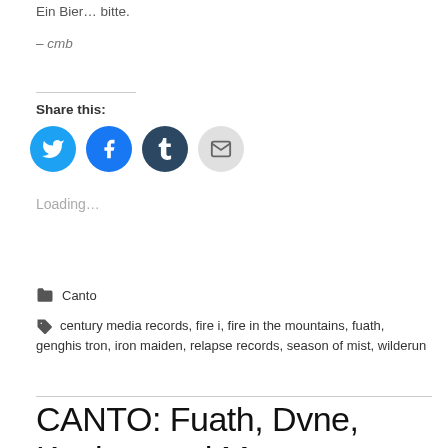Ein Bier... bitte.
– cmb
Share this:
[Figure (infographic): Four social sharing buttons: Twitter (blue bird), Facebook (blue f), Tumblr (dark blue t), Email (grey envelope)]
Loading...
Canto
century media records, fire i, fire in the mountains, fuath, genghis tron, iron maiden, relapse records, season of mist, wilderun
CANTO: Fuath, Dvne, Kankar, and More